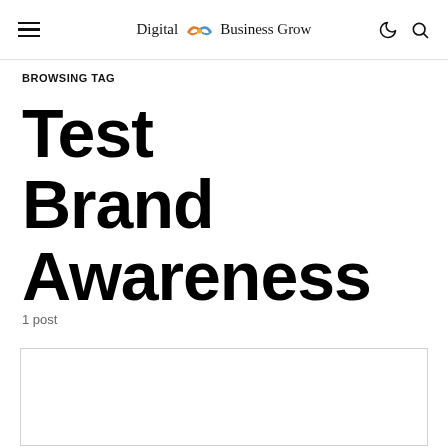Digital Business Grow
BROWSING TAG
Test Brand Awareness
1 post
[Figure (other): White card/box placeholder at bottom of page]